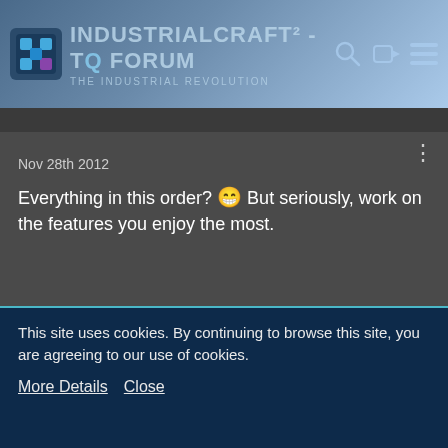IndustrialCraft² - The Forum · The Industrial Revolution
Nov 28th 2012
Everything in this order? 😁 But seriously, work on the features you enjoy the most.
DoomFruit
Glitch Miner
Nov 28th 2012
This site uses cookies. By continuing to browse this site, you are agreeing to our use of cookies.
More Details   Close